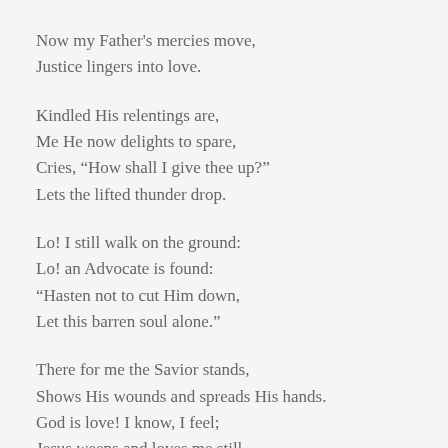Now my Father's mercies move,
Justice lingers into love.
Kindled His relentings are,
Me He now delights to spare,
Cries, “How shall I give thee up?”
Lets the lifted thunder drop.
Lo! I still walk on the ground:
Lo! an Advocate is found:
“Hasten not to cut Him down,
Let this barren soul alone.”
There for me the Savior stands,
Shows His wounds and spreads His hands.
God is love! I know, I feel;
Jesus weeps and loves me still.
Pity from Thine eye let fall,